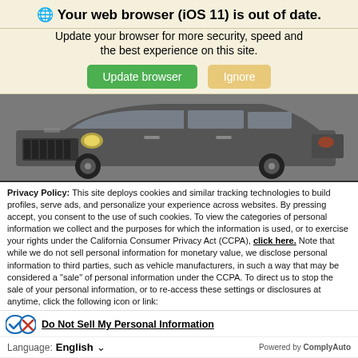🌐 Your web browser (iOS 11) is out of date.
Update your browser for more security, speed and the best experience on this site.
[Figure (screenshot): Green 'Update browser' button and tan/gold 'Ignore' button]
[Figure (photo): Front/side view of a gray Jeep Compass SUV on white background]
Privacy Policy: This site deploys cookies and similar tracking technologies to build profiles, serve ads, and personalize your experience across websites. By pressing accept, you consent to the use of such cookies. To view the categories of personal information we collect and the purposes for which the information is used, or to exercise your rights under the California Consumer Privacy Act (CCPA), click here. Note that while we do not sell personal information for monetary value, we disclose personal information to third parties, such as vehicle manufacturers, in such a way that may be considered a "sale" of personal information under the CCPA. To direct us to stop the sale of your personal information, or to re-access these settings or disclosures at anytime, click the following icon or link:
Do Not Sell My Personal Information
Language: English
Powered by ComplyAuto
Accept and Continue →
California Privacy Disclosures